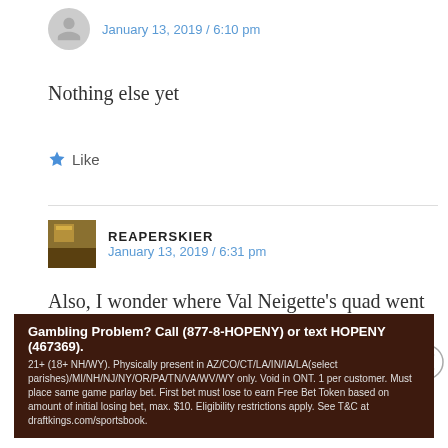January 13, 2019 / 6:10 pm
Nothing else yet
★ Like
REAPERSKIER
January 13, 2019 / 6:31 pm
Also, I wonder where Val Neigette's quad went to. Last thing i heard about it was that it was being sold to an ontario ski hill.
Advertisements
Gambling Problem? Call (877-8-HOPENY) or text HOPENY (467369). 21+ (18+ NH/WY). Physically present in AZ/CO/CT/LA/IN/IA/LA(select parishes)/MI/NH/NJ/NY/OR/PA/TN/VA/WV/WY only. Void in ONT. 1 per customer. Must place same game parlay bet. First bet must lose to earn Free Bet Token based on amount of initial losing bet, max. $10. Eligibility restrictions apply. See T&C at draftkings.com/sportsbook.